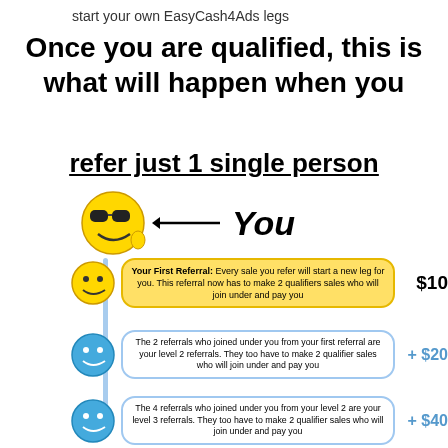start your own EasyCash4Ads legs
Once you are qualified, this is what will happen when you
refer just 1 single person
[Figure (infographic): MLM referral tree diagram showing smiley face icons connected by a vertical blue line with referral level descriptions and dollar amounts: You (level 0), First Referral $10, Level 2 +$20, Level 3 +$40, Level 4 +$80, Level 5 partially visible]
Your First Referral: Every sale you refer will start a new leg for you. This referral now has to make 2 qualifiers sales who will join under and pay you
$10
The 2 referrals who joined under you from your first referral are your level 2 referrals. They too have to make 2 qualifier sales who will join under and pay you
+ $20
The 4 referrals who joined under you from your level 2 are your level 3 referrals. They too have to make 2 qualifier sales who will join under and pay you
+ $40
The 8 referrals who joined under you from your level 3 are your level 4 referrals. They too have to make 2 qualifier sales who will join under and pay you
+ $80
The 16 referrals who joined under you from your level...